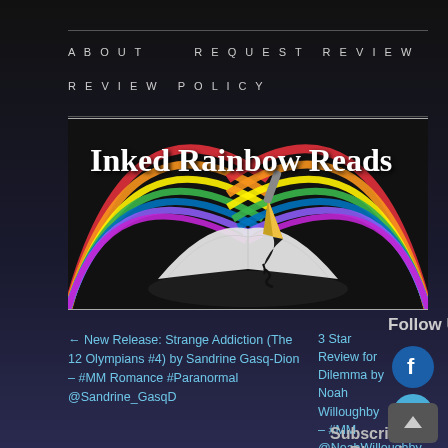ABOUT   REQUEST REVIEW   REVIEW POLICY
[Figure (illustration): Inked Rainbow Reads blog banner with rainbow background and open book with gold pen nib writing]
← New Release: Strange Addiction (The 12 Olympians #4) by Sandrine Gasq-Dion – #MM Romance #Paranormal @Sandrine_GasqD
3 Star Review for Dilemma by Noah Willoughby – #MM @NoahWilloughby →
Follow Us
[Figure (illustration): Facebook circular icon (dark blue with white F)]
[Figure (illustration): Twitter circular icon (light blue with white bird)]
Subscribe to Blog via